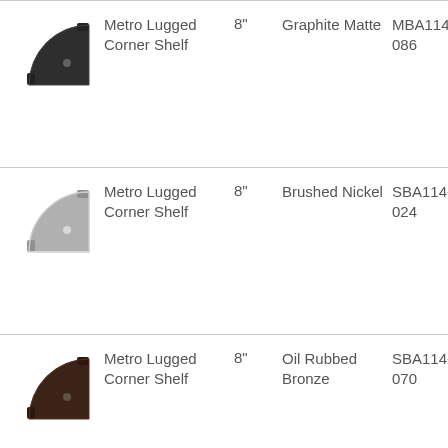[Figure (illustration): Metro Lugged Corner Shelf in Graphite Matte finish, quarter-circle shaped shelf viewed from above]
Metro Lugged Corner Shelf  8"  Graphite Matte  MBA114-086
[Figure (illustration): Metro Lugged Corner Shelf in Brushed Nickel finish, quarter-circle shaped shelf viewed from above]
Metro Lugged Corner Shelf  8"  Brushed Nickel  SBA114-024
[Figure (illustration): Metro Lugged Corner Shelf in Oil Rubbed Bronze finish, quarter-circle shaped shelf viewed from above]
Metro Lugged Corner Shelf  8"  Oil Rubbed Bronze  SBA114-070